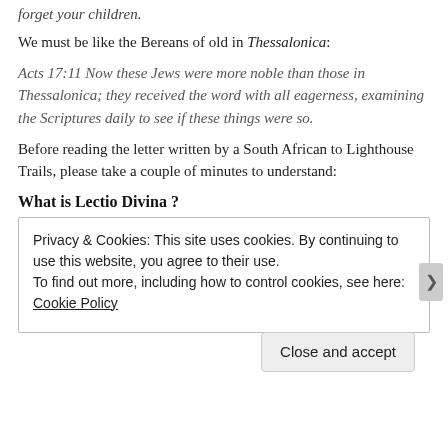forget your children.
We must be like the Bereans of old in Thessalonica:
Acts 17:11 Now these Jews were more noble than those in Thessalonica; they received the word with all eagerness, examining the Scriptures daily to see if these things were so.
Before reading the letter written by a South African to Lighthouse Trails, please take a couple of minutes to understand:
What is Lectio Divina ?
Privacy & Cookies: This site uses cookies. By continuing to use this website, you agree to their use.
To find out more, including how to control cookies, see here: Cookie Policy
Close and accept